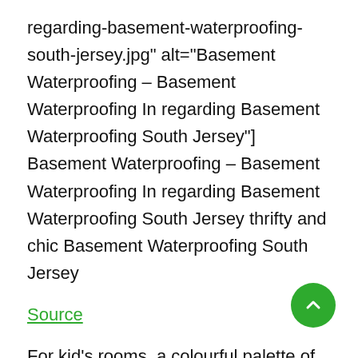regarding-basement-waterproofing-south-jersey.jpg" alt="Basement Waterproofing – Basement Waterproofing In regarding Basement Waterproofing South Jersey"] Basement Waterproofing – Basement Waterproofing In regarding Basement Waterproofing South Jersey thrifty and chic Basement Waterproofing South Jersey
Source
For kid's rooms, a colourful palette of essential colorations is well-suited for a playroom or kid's bedroom. But these colorations won't art in the dining room